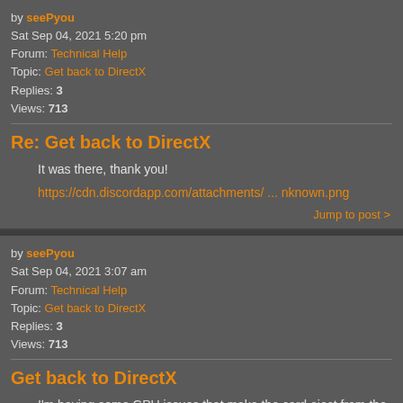by seePyou
Sat Sep 04, 2021 5:20 pm
Forum: Technical Help
Topic: Get back to DirectX
Replies: 3
Views: 713
Re: Get back to DirectX
It was there, thank you!
https://cdn.discordapp.com/attachments/ ... nknown.png
Jump to post >
by seePyou
Sat Sep 04, 2021 3:07 am
Forum: Technical Help
Topic: Get back to DirectX
Replies: 3
Views: 713
Get back to DirectX
I'm having some GPU issues that make the card eject from the system or the driver crashes. While I'm trying to resolve this, I was playing Factorio and after such an event it asked me if I want to make the game OpenGL. I kept saying no, as it's not Factorio's fault, but one time I did so by accident...
Jump to post >